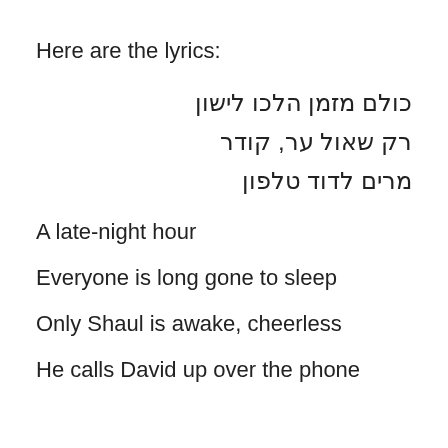Here are the lyrics:
כולם מזמן הלכו לישון
רק שאול ער, קודר
מרים לדוד טלפון
A late-night hour
Everyone is long gone to sleep
Only Shaul is awake, cheerless
He calls David up over the phone